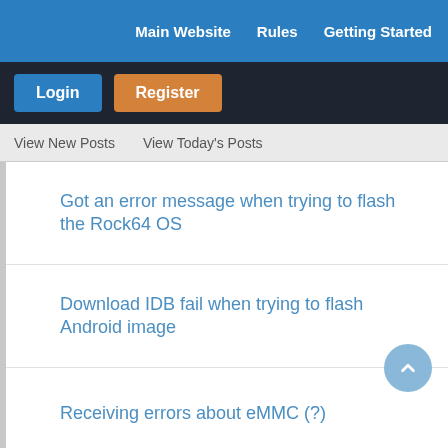Main Website   Rules   Getting Started
Login   Register
View New Posts   View Today's Posts
Got an error message when trying to flash the Rock64 OS
Download IDB fail when trying to flash Android image
Receiving errors about eMMC (?)
USB -> eMMC is now available.
Unable to boot from SPI